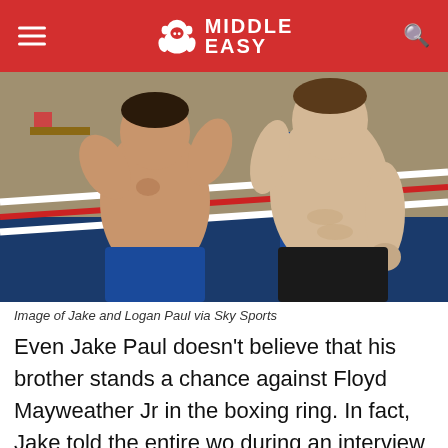MIDDLE EASY
[Figure (photo): Two shirtless men in a boxing gym, one facing away and the other facing toward camera, standing near boxing ring ropes.]
Image of Jake and Logan Paul via Sky Sports
Even Jake Paul doesn't believe that his brother stands a chance against Floyd Mayweather Jr in the boxing ring. In fact, Jake told the entire world during an interview that his brother is a clout chaser and is damaging the sport of boxing. Logan didn't take nicely to the claims and is now